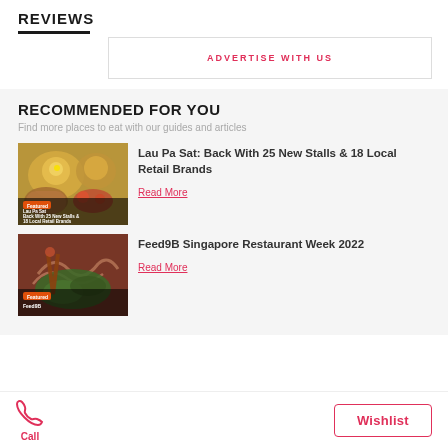REVIEWS
ADVERTISE WITH US
RECOMMENDED FOR YOU
Find more places to eat with our guides and articles
[Figure (photo): Food photo showing dishes at Lau Pa Sat with overlay text: Featured, Lau Pa Sat, Back With 25 New Stalls & 18 Local Retail Brands]
Lau Pa Sat: Back With 25 New Stalls & 18 Local Retail Brands
Read More
[Figure (photo): Food photo showing noodles and greens for Feed9B Singapore Restaurant Week 2022 with Featured overlay tag]
Feed9B Singapore Restaurant Week 2022
Read More
Call | Wishlist